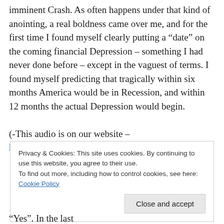imminent Crash. As often happens under that kind of anointing, a real boldness came over me, and for the first time I found myself clearly putting a “date” on the coming financial Depression – something I had never done before – except in the vaguest of terms. I found myself predicting that tragically within six months America would be in Recession, and within 12 months the actual Depression would begin.
(-This audio is on our website – http://www.revivalschool.com )
Privacy & Cookies: This site uses cookies. By continuing to use this website, you agree to their use. To find out more, including how to control cookies, see here: Cookie Policy
“Yes”. In the last